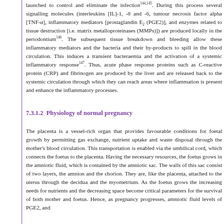launched to control and eliminate the infection[144,145]. During this process several signalling molecules (interleukins [IL]-1, -8 and -6, tumour necrosis factor alpha [TNF-α], inflammatory mediators [prostaglandin E2 (PGE2)], and enzymes related to tissue destruction [i.e. matrix metalloproteinases (MMPs)]) are produced locally in the periodontium[146]. The subsequent tissue breakdown and bleeding allow these inflammatory mediators and the bacteria and their by-products to spill in the blood circulation. This induces a transient bacteraemia and the activation of a systemic inflammatory response[147]. Thus, acute phase response proteins such as C-reactive protein (CRP) and fibrinogen are produced by the liver and are released back to the systemic circulation through which they can reach areas where inflammation is present and enhance the inflammatory processes.
7.3.1.2  Physiology of normal pregnancy
The placenta is a vessel-rich organ that provides favourable conditions for foetal growth by permitting gas exchange, nutrient uptake and waste disposal through the mother's blood circulation. This transportation is enabled via the umbilical cord, which connects the foetus to the placenta. Having the necessary resources, the foetus grows in the amniotic fluid, which is contained by the amniotic sac. The walls of this sac consist of two layers, the amnion and the chorion. They are, like the placenta, attached to the uterus through the decidua and the myometrium. As the foetus grows the increasing needs for nutrients and the decreasing space become critical parameters for the survival of both mother and foetus. Hence, as pregnancy progresses, amniotic fluid levels of PGE2, and